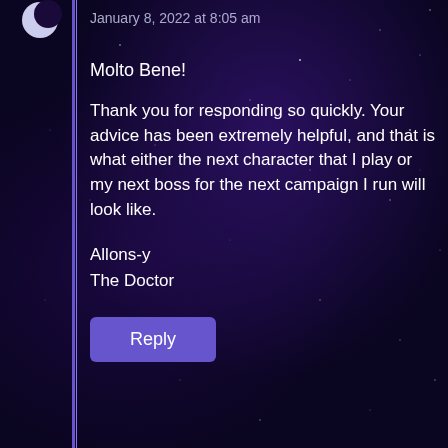January 8, 2022 at 8:05 am
Molto Bene!
Thank you for responding so quickly. Your advice has been extremely helpful, and that is what either the next character that I play or my next boss for the next campaign I run will look like.
Allons-y
The Doctor
Reply